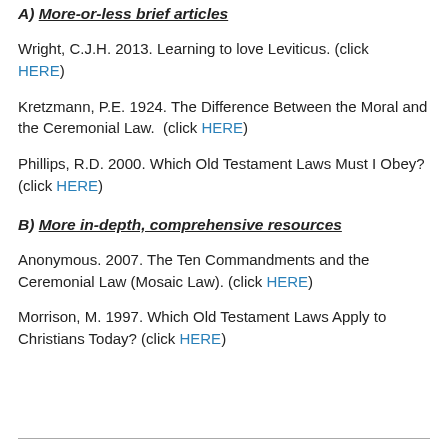A) More-or-less brief articles
Wright, C.J.H. 2013. Learning to love Leviticus. (click HERE)
Kretzmann, P.E. 1924. The Difference Between the Moral and the Ceremonial Law. (click HERE)
Phillips, R.D. 2000. Which Old Testament Laws Must I Obey? (click HERE)
B) More in-depth, comprehensive resources
Anonymous. 2007. The Ten Commandments and the Ceremonial Law (Mosaic Law). (click HERE)
Morrison, M. 1997. Which Old Testament Laws Apply to Christians Today? (click HERE)